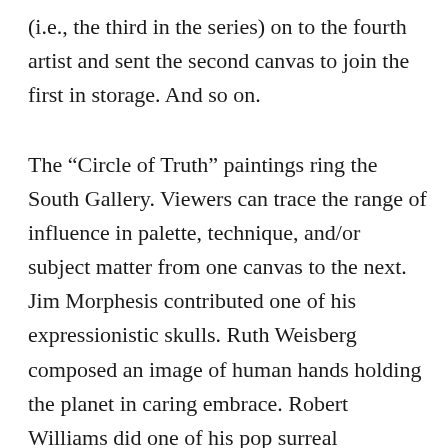(i.e., the third in the series) on to the fourth artist and sent the second canvas to join the first in storage. And so on.
The “Circle of Truth” paintings ring the South Gallery. Viewers can trace the range of influence in palette, technique, and/or subject matter from one canvas to the next. Jim Morphesis contributed one of his expressionistic skulls. Ruth Weisberg composed an image of human hands holding the planet in caring embrace. Robert Williams did one of his pop surreal narratives: a strange blue being instructing a dubious female student about drawing guns. Kim Abeles placed a